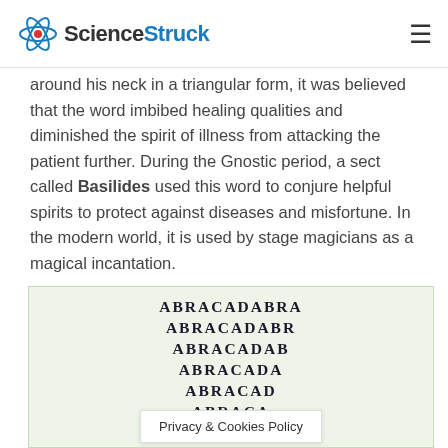ScienceStruck
around his neck in a triangular form, it was believed that the word imbibed healing qualities and diminished the spirit of illness from attacking the patient further. During the Gnostic period, a sect called Basilides used this word to conjure helpful spirits to protect against diseases and misfortune. In the modern world, it is used by stage magicians as a magical incantation.
[Figure (illustration): Triangular Abracadabra word triangle on a light green background, showing progressively shorter lines: ABRACADABRA, ABRACADABR, ABRACADAB, ABRACADA, ABRACAD, ABRACA, ABRAC]
Privacy & Cookies Policy